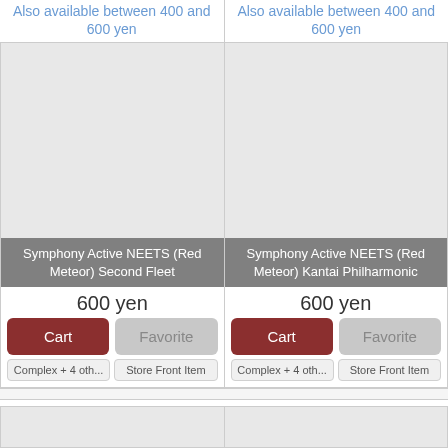Also available between 400 and 600 yen
Also available between 400 and 600 yen
[Figure (screenshot): Product card for Symphony Active NEETS (Red Meteor) Second Fleet, 600 yen, with Cart and Favorite buttons, Complex + 4 oth... and Store Front Item tags]
[Figure (screenshot): Product card for Symphony Active NEETS (Red Meteor) Kantai Philharmonic, 600 yen, with Cart and Favorite buttons, Complex + 4 oth... and Store Front Item tags]
[Figure (screenshot): Bottom row partial product cards (truncated)]